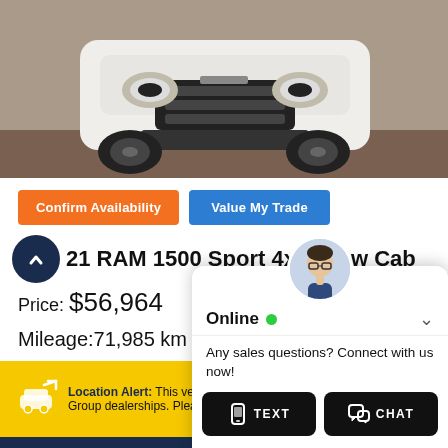[Figure (photo): Front view of a white RAM 1500 truck parked indoors on a concrete floor]
Confirm Availability | Value My Trade
21 RAM 1500 Sport 4x4 Crew Cab
Price: $56,964
Mileage: 71,985 km
Location Alert: This vehicle is located at one of our other FFUN Group dealerships. Please contact us for more
[Figure (screenshot): Live chat widget showing an online agent, with TEXT and CHAT buttons]